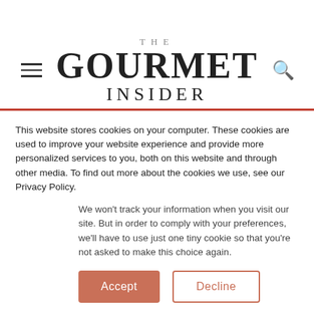THE GOURMET INSIDER
good news is that once we recognize why temptations occur, it may be easier to overcome them.
Habit is a usual cause of temptation. If you're reaching
This website stores cookies on your computer. These cookies are used to improve your website experience and provide more personalized services to you, both on this website and through other media. To find out more about the cookies we use, see our Privacy Policy.
We won't track your information when you visit our site. But in order to comply with your preferences, we'll have to use just one tiny cookie so that you're not asked to make this choice again.